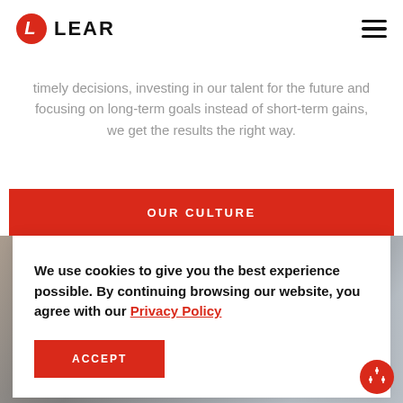[Figure (logo): Lear Corporation logo with red L icon and LEAR text in bold black]
timely decisions, investing in our talent for the future and focusing on long-term goals instead of short-term gains, we get the results the right way.
OUR CULTURE
[Figure (photo): Background photo of workers in an industrial/automotive setting]
We use cookies to give you the best experience possible. By continuing browsing our website, you agree with our Privacy Policy
ACCEPT